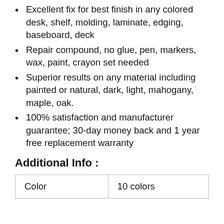Excellent fix for best finish in any colored desk, shelf, molding, laminate, edging, baseboard, deck
Repair compound, no glue, pen, markers, wax, paint, crayon set needed
Superior results on any material including painted or natural, dark, light, mahogany, maple, oak.
100% satisfaction and manufacturer guarantee; 30-day money back and 1 year free replacement warranty
Additional Info :
| Color | 10 colors |